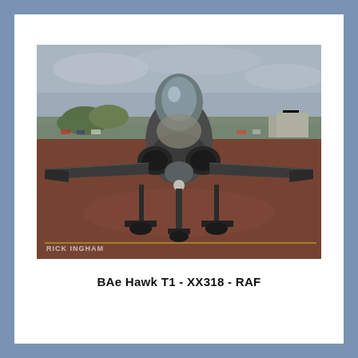[Figure (photo): Front-on photograph of a BAe Hawk T1 jet trainer aircraft (serial XX318, RAF) parked on a wet reddish tarmac apron. The aircraft is viewed head-on, showing the nose cone, canopy, twin intakes, and landing gear. Background shows parked cars, trees, and buildings under an overcast grey sky. A watermark reading 'RICK INGHAM' is visible in the lower-left corner.]
BAe Hawk T1 - XX318 - RAF